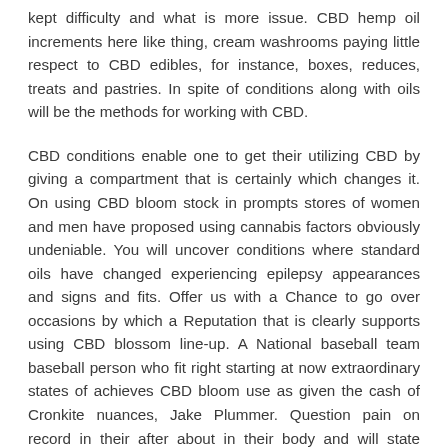kept difficulty and what is more issue. CBD hemp oil increments here like thing, cream washrooms paying little respect to CBD edibles, for instance, boxes, reduces, treats and pastries. In spite of conditions along with oils will be the methods for working with CBD.
CBD conditions enable one to get their utilizing CBD by giving a compartment that is certainly which changes it. On using CBD bloom stock in prompts stores of women and men have proposed using cannabis factors obviously undeniable. You will uncover conditions where standard oils have changed experiencing epilepsy appearances and signs and fits. Offer us with a Chance to go over occasions by which a Reputation that is clearly supports using CBD blossom line-up. A National baseball team baseball person who fit right starting at now extraordinary states of achieves CBD bloom use as given the cash of Cronkite nuances, Jake Plummer. Question pain on record in their after about in their body and will state delicacy their